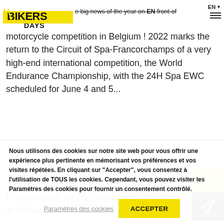BIKERS DAYS — the big news of the year on EN front of
motorcycle competition in Belgium ! 2022 marks the return to the Circuit of Spa-Francorchamps of a very high-end international competition, the World Endurance Championship, with the 24H Spa EWC scheduled for June 4 and 5...
In preparation for this major event, two days of official
Nous utilisons des cookies sur notre site web pour vous offrir une expérience plus pertinente en mémorisant vos préférences et vos visites répétées. En cliquant sur "Accepter", vous consentez à l'utilisation de TOUS les cookies. Cependant, vous pouvez visiter les Paramètres des cookies pour fournir un consentement contrôlé.
Paramètres des cookies | ACCEPTER